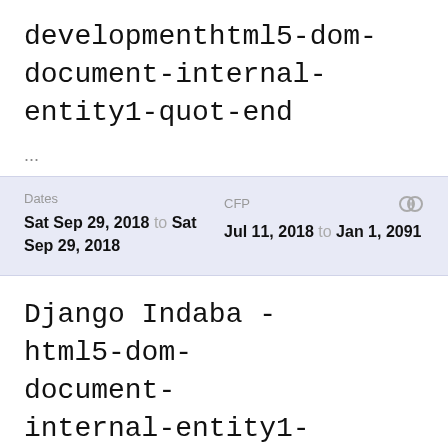developmenthtml5-dom-document-internal-entity1-quot-end
...
| Dates | CFP |
| --- | --- |
| Sat Sep 29, 2018 to Sat Sep 29, 2018 | Jul 11, 2018 to Jan 1, 2091 |
Django Indaba - html5-dom-document-internal-entity1-quot-endThe event for Pizza lovers and web developmenthtml5-dom